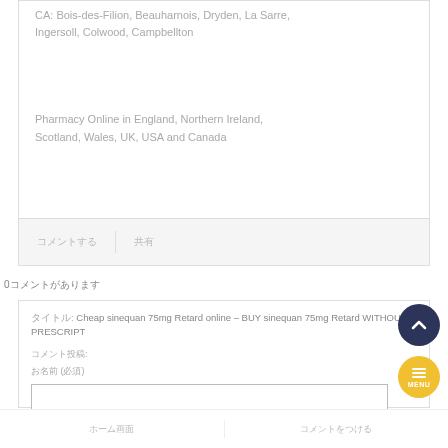CA: Bois-des-Filion, Beauharnois, Dryden, La Sarre, Ingersoll, Colwood, Campbellton
Pharmacy Online in England, Northern Ireland, Scotland, Wales, UK, USA and Canada
0コメントがあります
タイトル: Cheap sinequan 75mg Retard online – BUY sinequan 75mg Retard WITHOUT A PRESCRIPT
コメント投稿:
お名前 (必須)